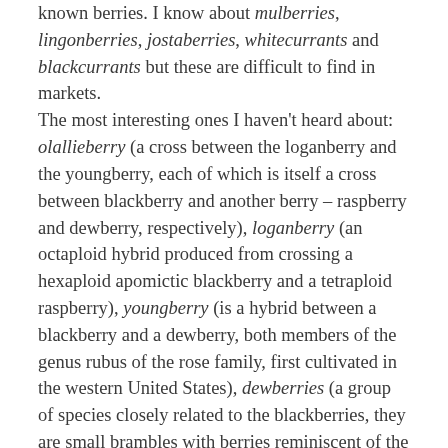known berries. I know about mulberries, lingonberries, jostaberries, whitecurrants and blackcurrants but these are difficult to find in markets. The most interesting ones I haven't heard about: olallieberry (a cross between the loganberry and the youngberry, each of which is itself a cross between blackberry and another berry – raspberry and dewberry, respectively), loganberry (an octaploid hybrid produced from crossing a hexaploid apomictic blackberry and a tetraploid raspberry), youngberry (is a hybrid between a blackberry and a dewberry, both members of the genus rubus of the rose family, first cultivated in the western United States), dewberries (a group of species closely related to the blackberries, they are small brambles with berries reminiscent of the raspberry, but are usually purple to black instead of red), boysenberries (a cross between a European raspberry, a common blackberry and a loganberry), and pineberries (a strawberry cultivar owned by breeder Hans de Jongh and commercialized by VitalBerry BV in Made, The Netherlands, and publicized in Germany in April, 2009,